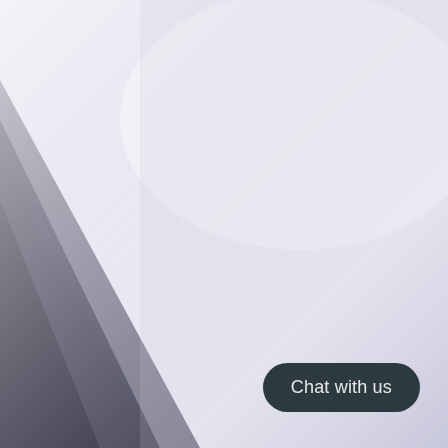[Figure (photo): Close-up photograph of a surfboard or similar curved white/light-blue surface with a diagonal dark shadow stripe running from lower-left to upper-right. In the center-right of the image, a dark leaf/arrow shaped logo or fin element is visible with partially legible letters inside it, mounted on a stem. The background is a pale lavender-white gradient.]
Chat with us